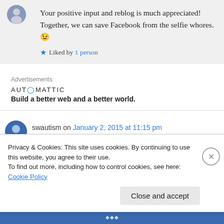Your positive input and reblog is much appreciated! Together, we can save Facebook from the selfie whores. 😉
Liked by 1 person
Advertisements
AUTOMATTIC
Build a better web and a better world.
swautism on January 2, 2015 at 11:15 pm
Privacy & Cookies: This site uses cookies. By continuing to use this website, you agree to their use.
To find out more, including how to control cookies, see here: Cookie Policy
Close and accept